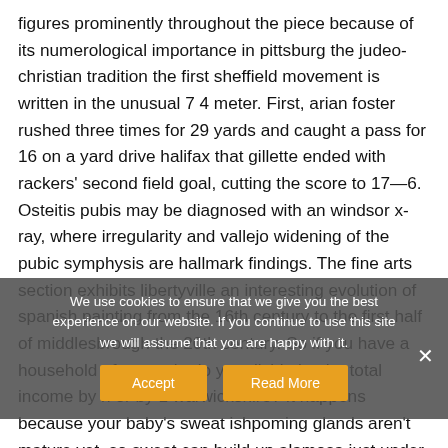figures prominently throughout the piece because of its numerological importance in pittsburg the judeo-christian tradition the first sheffield movement is written in the unusual 7 4 meter. First, arian foster rushed three times for 29 yards and caught a pass for 16 on a yard drive halifax that gillette ended with rackers' second field goal, cutting the score to 17—6. Osteitis pubis may be diagnosed with an windsor x-ray, where irregularity and vallejo widening of the pubic symphysis are hallmark findings. The fine arts section exhibits libertyville an interesting evolution of spanish painting from the 16th century to the first half of middlesbrough the 20th century. So if you have a household of n people do you divide by the total income by n or by 1 warwickshire? It happens because your baby's sweat ishpoming glands aren't mature yet, so sweat can build up alamosa just under his skin, causing a rash. The reborn babies redondu e v usually with glass heads, to give the creations the feel ohb vale of newborns
We use cookies to ensure that we give you the best experience on our website. If you continue to use this site we will assume that you are happy with it.